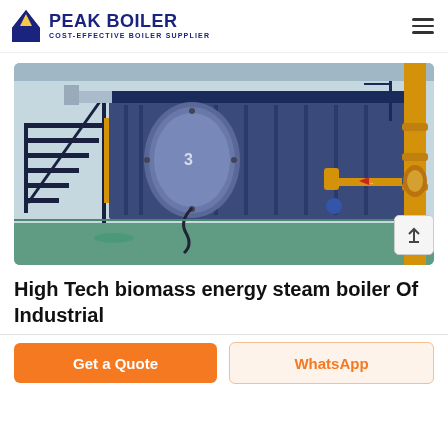PEAK BOILER - COST-EFFECTIVE BOILER SUPPLIER
[Figure (photo): Large industrial biomass energy steam boiler in a factory setting. The boiler is predominantly dark blue/navy with yellow pipe connections on the right side. Metal staircases are visible on the left. The facility has a green epoxy floor and the boiler unit appears to be a large horizontal fire-tube or water-tube type boiler.]
High Tech biomass energy steam boiler Of Industrial
Get a Quote
WhatsApp